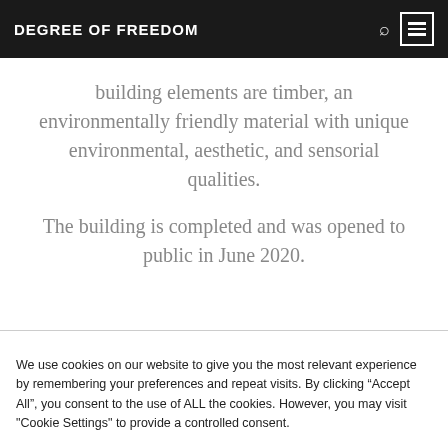DEGREE OF FREEDOM
building elements are timber, an environmentally friendly material with unique environmental, aesthetic, and sensorial qualities.
The building is completed and was opened to public in June 2020.
We use cookies on our website to give you the most relevant experience by remembering your preferences and repeat visits. By clicking “Accept All”, you consent to the use of ALL the cookies. However, you may visit "Cookie Settings" to provide a controlled consent.